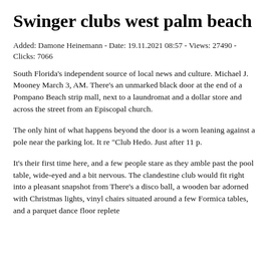Swinger clubs west palm beach
Added: Damone Heinemann - Date: 19.11.2021 08:57 - Views: 27490 - Clicks: 7066
South Florida's independent source of local news and culture. Michael J. Mooney March 3, AM. There's an unmarked black door at the end of a Pompano Beach strip mall, next to a laundromat and a dollar store and across the street from an Episcopal church.
The only hint of what happens beyond the door is a worn leaning against a pole near the parking lot. It re "Club Hedo. Just after 11 p.
It's their first time here, and a few people stare as they amble past the pool table, wide-eyed and a bit nervous. The clandestine club would fit right into a pleasant snapshot from There's a disco ball, a wooden bar adorned with Christmas lights, vinyl chairs situated around a few Formica tables, and a parquet dance floor replete